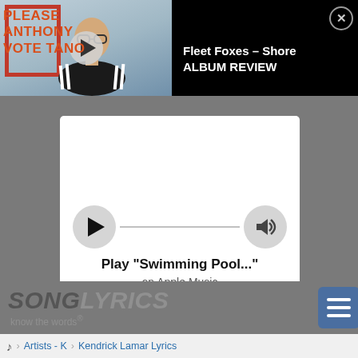[Figure (screenshot): Video thumbnail showing a person wearing a black Adidas tracksuit with text overlay 'PLEASE ANTHONY VOTE TANO' in orange/red letters, with a play button overlay]
Fleet Foxes – Shore ALBUM REVIEW
[Figure (screenshot): Apple Music inline player widget with play button, progress line, and volume button. Text reads: Play "Swimming Pool..." on Apple Music]
[Figure (logo): SongLyrics logo with tagline 'know the words®']
Artists - K   Kendrick Lamar Lyrics